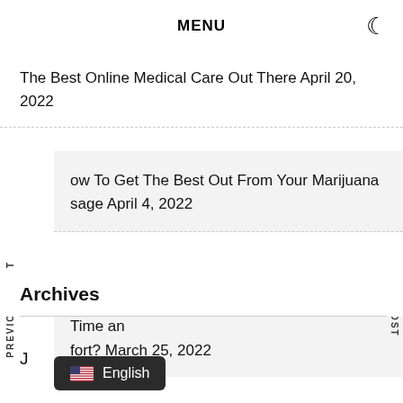MENU
The Best Online Medical Care Out There April 20, 2022
ow To Get The Best Out From Your Marijuana sage April 4, 2022
etting a Medical Cannabis Card Worth the Time an fort? March 25, 2022
Archives
J
English